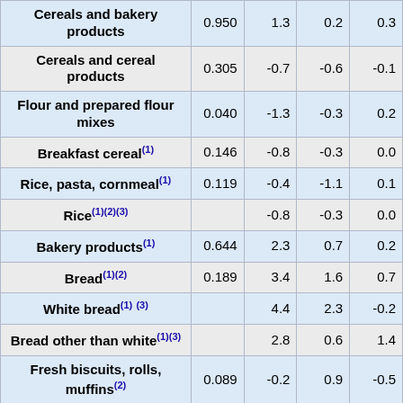| Item | Weight | Col3 | Col4 | Col5 |
| --- | --- | --- | --- | --- |
| Cereals and bakery products | 0.950 | 1.3 | 0.2 | 0.3 |
| Cereals and cereal products | 0.305 | -0.7 | -0.6 | -0.1 |
| Flour and prepared flour mixes | 0.040 | -1.3 | -0.3 | 0.2 |
| Breakfast cereal(1) | 0.146 | -0.8 | -0.3 | 0.0 |
| Rice, pasta, cornmeal(1) | 0.119 | -0.4 | -1.1 | 0.1 |
| Rice(1)(2)(3) |  | -0.8 | -0.3 | 0.0 |
| Bakery products(1) | 0.644 | 2.3 | 0.7 | 0.2 |
| Bread(1)(2) | 0.189 | 3.4 | 1.6 | 0.7 |
| White bread(1)(3) |  | 4.4 | 2.3 | -0.2 |
| Bread other than white(1)(3) |  | 2.8 | 0.6 | 1.4 |
| Fresh biscuits, rolls, muffins(2) | 0.089 | -0.2 | 0.9 | -0.5 |